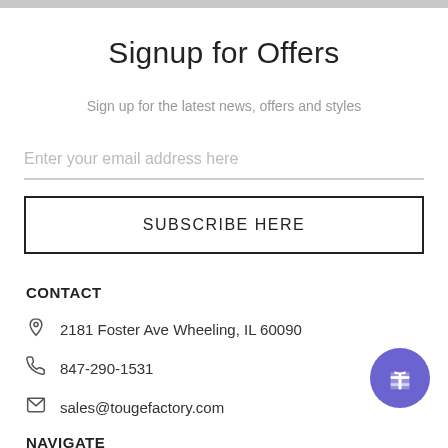Signup for Offers
Sign up for the latest news, offers and styles
Enter your email address here
SUBSCRIBE HERE
CONTACT
2181 Foster Ave Wheeling, IL 60090
847-290-1531
sales@tougefactory.com
NAVIGATE